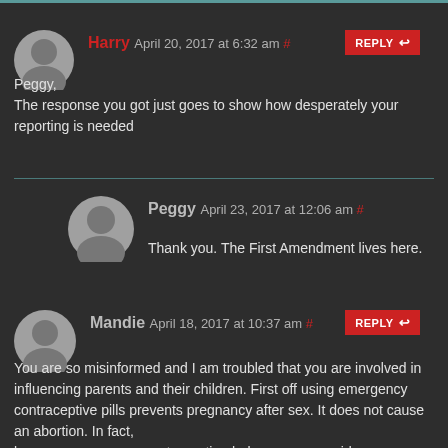Harry April 20, 2017 at 6:32 am #
Peggy,
The response you got just goes to show how desperately your reporting is needed
Peggy April 23, 2017 at 12:06 am #
Thank you. The First Amendment lives here.
Mandie April 18, 2017 at 10:37 am #
You are so misinformed and I am troubled that you are involved in influencing parents and their children. First off using emergency contraceptive pills prevents pregnancy after sex. It does not cause an abortion. In fact, because emergency contraception helps women avoid pregnancy, it can reduce the need for abortion.